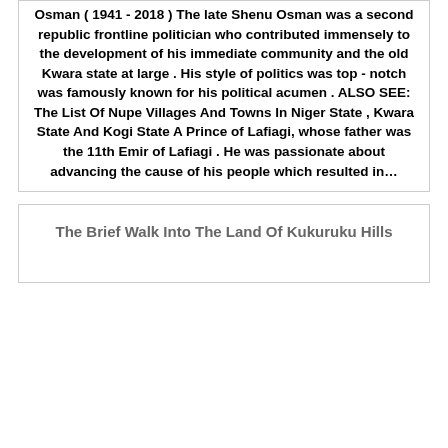Osman ( 1941 - 2018 ) The late Shenu Osman was a second republic frontline politician who contributed immensely to the development of his immediate community and the old Kwara state at large . His style of politics was top - notch was famously known for his political acumen . ALSO SEE: The List Of Nupe Villages And Towns In Niger State , Kwara State And Kogi State A Prince of Lafiagi, whose father was the 11th Emir of Lafiagi . He was passionate about advancing the cause of his people which resulted in…
The Brief Walk Into The Land Of Kukuruku Hills